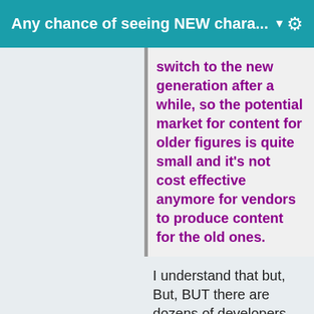Any chance of seeing NEW chara... ▼
switch to the new generation after a while, so the potential market for content for older figures is quite small and it's not cost effective anymore for vendors to produce content for the old ones.
I understand that but, But, BUT there are dozens of developers releasing things for the new characters. So those procducts are competing with dozens or